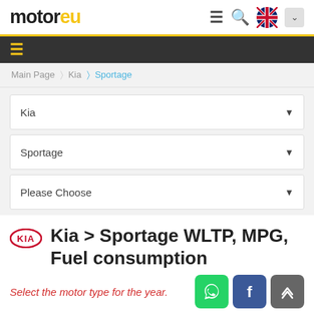motor eu
Main Page › Kia › Sportage
Kia
Sportage
Please Choose
Kia > Sportage WLTP, MPG, Fuel consumption
Select the motor type for the year.